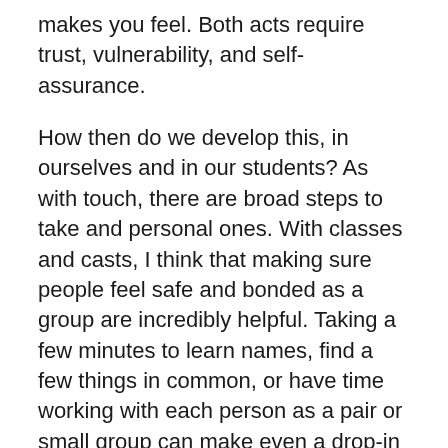makes you feel. Both acts require trust, vulnerability, and self-assurance.
How then do we develop this, in ourselves and in our students? As with touch, there are broad steps to take and personal ones. With classes and casts, I think that making sure people feel safe and bonded as a group are incredibly helpful. Taking a few minutes to learn names, find a few things in common, or have time working with each person as a pair or small group can make even a drop-in feel more comfortable. For casts spending more time together, a nice long chat about boundaries and non-improv group bonding can both be huge aids to cultivating this experience.